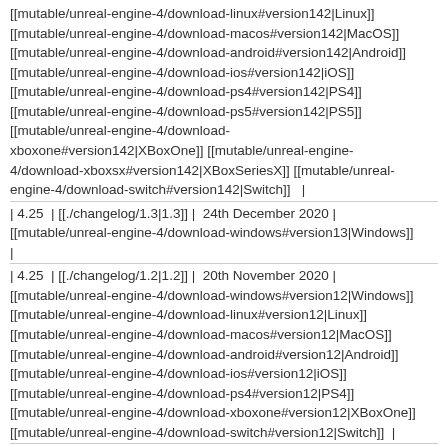[[mutable/unreal-engine-4/download-linux#version142|Linux]] [[mutable/unreal-engine-4/download-macos#version142|MacOS]] [[mutable/unreal-engine-4/download-android#version142|Android]] [[mutable/unreal-engine-4/download-ios#version142|iOS]] [[mutable/unreal-engine-4/download-ps4#version142|PS4]] [[mutable/unreal-engine-4/download-ps5#version142|PS5]] [[mutable/unreal-engine-4/download-xboxone#version142|XBoxOne]] [[mutable/unreal-engine-4/download-xboxsx#version142|XBoxSeriesX]] [[mutable/unreal-engine-4/download-switch#version142|Switch]] |
| 4.25 | [[./changelog/1.3|1.3]] | 24th December 2020 | [[mutable/unreal-engine-4/download-windows#version13|Windows]] |
| 4.25 | [[./changelog/1.2|1.2]] | 20th November 2020 | [[mutable/unreal-engine-4/download-windows#version12|Windows]] [[mutable/unreal-engine-4/download-linux#version12|Linux]] [[mutable/unreal-engine-4/download-macos#version12|MacOS]] [[mutable/unreal-engine-4/download-android#version12|Android]] [[mutable/unreal-engine-4/download-ios#version12|iOS]] [[mutable/unreal-engine-4/download-ps4#version12|PS4]] [[mutable/unreal-engine-4/download-xboxone#version12|XBoxOne]] [[mutable/unreal-engine-4/download-switch#version12|Switch]] |
| 4.25 | [[./changelog/1.1|1.1]] | 21th September 2020 | [[mutable/unreal-engine-4/download-windows#version11|Windows]] [[mutable/unreal-engine-4/download-linux#version11|Linux]] [[mutable/unreal-engine-4/download-macos#version11|MacOS]]